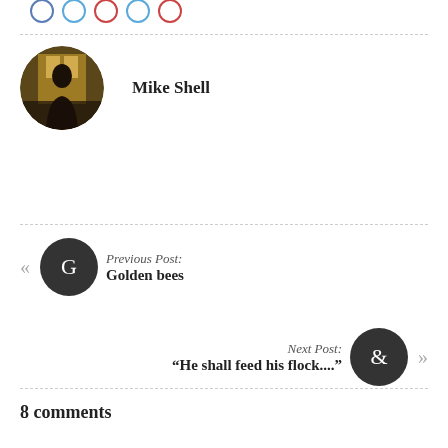[Figure (illustration): Five social share icon circles (blue, light blue, red, light blue, red outlines) at top]
[Figure (photo): Circular avatar photo of Mike Shell — silhouette of a person backlit against a window, dark warm tones]
Mike Shell
Previous Post:
Golden bees
Next Post:
“He shall feed his flock....”
8 comments